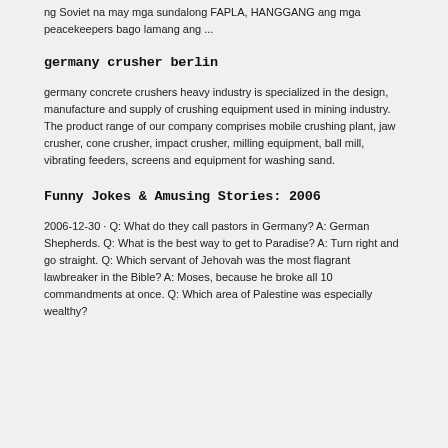ng Soviet na may mga sundalong FAPLA, HANGGANG ang mga peacekeepers bago lamang ang ...
germany crusher berlin
germany concrete crushers heavy industry is specialized in the design, manufacture and supply of crushing equipment used in mining industry. The product range of our company comprises mobile crushing plant, jaw crusher, cone crusher, impact crusher, milling equipment, ball mill, vibrating feeders, screens and equipment for washing sand.
Funny Jokes & Amusing Stories: 2006
2006-12-30 · Q: What do they call pastors in Germany? A: German Shepherds. Q: What is the best way to get to Paradise? A: Turn right and go straight. Q: Which servant of Jehovah was the most flagrant lawbreaker in the Bible? A: Moses, because he broke all 10 commandments at once. Q: Which area of Palestine was especially wealthy?